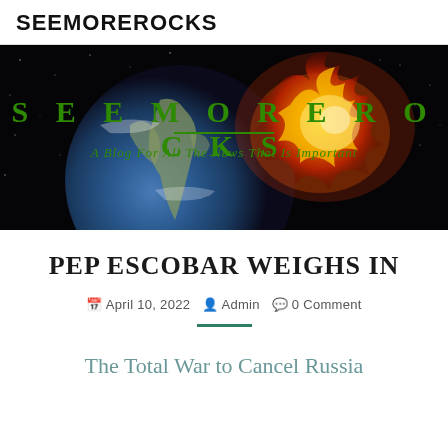SEEMOREROCKS
[Figure (illustration): Banner image with dark space/earth background showing a globe with fire/explosion on the right side. Green bold spaced text reads SEEMOREROCKS with underline and italic subtitle: A Blog For All The News That Is Important]
PEP ESCOBAR WEIGHS IN
April 10, 2022  Admin  0 Comment
The Total War to Cancel Russia